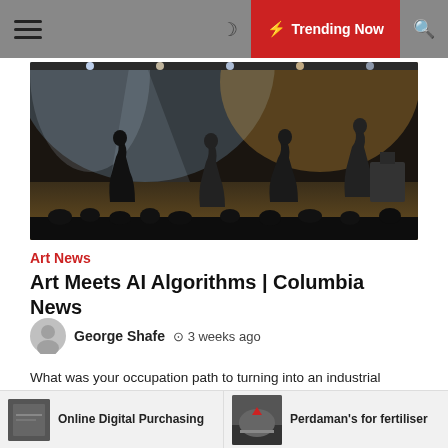≡  🌙  ⚡ Trending Now  🔍
[Figure (photo): Concert stage photo showing performers on stage with dramatic lighting, smoke, and audience in background]
Art News
Art Meets AI Algorithms | Columbia News
George Shafe   🕐 3 weeks ago
What was your occupation path to turning into an industrial engineer and a professor? I started as a Wall Avenue quantitative analyst as an alternative of heading for a postdoc. Yrs later, I turned a hedge fund supervisor, and used
Online Digital Purchasing   |   Perdaman's for fertiliser